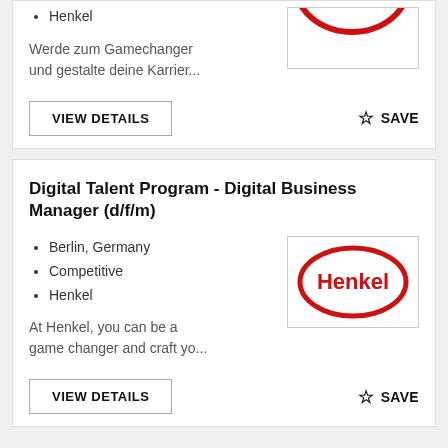Henkel
Werde zum Gamechanger und gestalte deine Karrier...
[Figure (logo): Henkel red oval logo, partially visible (bottom portion cut off)]
VIEW DETAILS
SAVE
Digital Talent Program - Digital Business Manager (d/f/m)
Berlin, Germany
Competitive
Henkel
[Figure (logo): Henkel logo: red oval ellipse with Henkel text in red bold inside]
At Henkel, you can be a game changer and craft yo...
VIEW DETAILS
SAVE